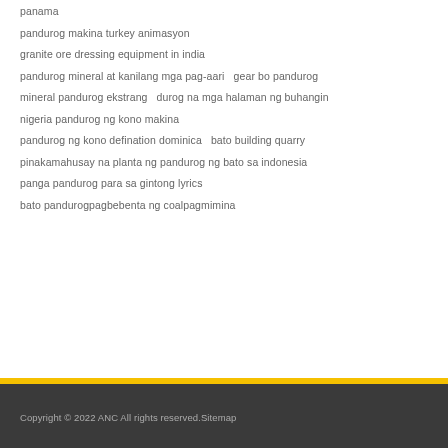panama
pandurog makina turkey animasyon
granite ore dressing equipment in india
pandurog mineral at kanilang mga pag-aari   gear bo pandurog
mineral pandurog ekstrang   durog na mga halaman ng buhangin
nigeria pandurog ng kono makina
pandurog ng kono defination dominica   bato building quarry
pinakamahusay na planta ng pandurog ng bato sa indonesia
panga pandurog para sa gintong lyrics
bato pandurogpagbebenta ng coalpagmimina
Copyright © 2022 ANC All rights reserved.Sitemap